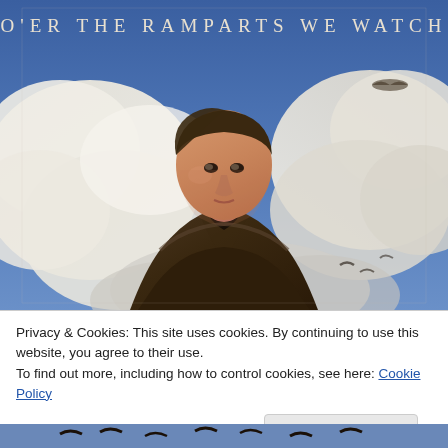[Figure (illustration): Vintage WWII-era illustration/poster of a young male aviator in a brown leather flight jacket looking upward heroically, surrounded by dramatic blue sky and white clouds. Text at top reads 'O'ER THE RAMPARTS WE WATCH' in spaced serif capital letters.]
Privacy & Cookies: This site uses cookies. By continuing to use this website, you agree to their use.
To find out more, including how to control cookies, see here: Cookie Policy
Close and accept
[Figure (illustration): Partial bottom strip showing what appears to be more of the aviator illustration — dark silhouettes visible against a sky background.]